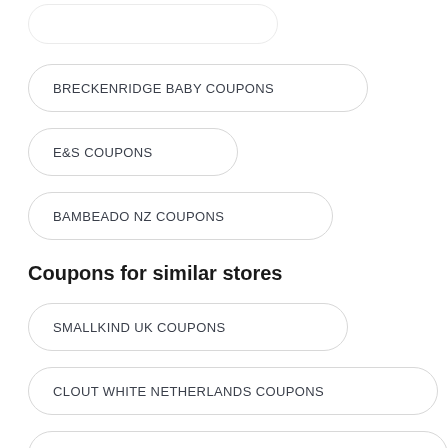BRECKENRIDGE BABY COUPONS
E&S COUPONS
BAMBEADO NZ COUPONS
Coupons for similar stores
SMALLKIND UK COUPONS
CLOUT WHITE NETHERLANDS COUPONS
FIX-ANYTHING AND INTELLIPROP COUPONS